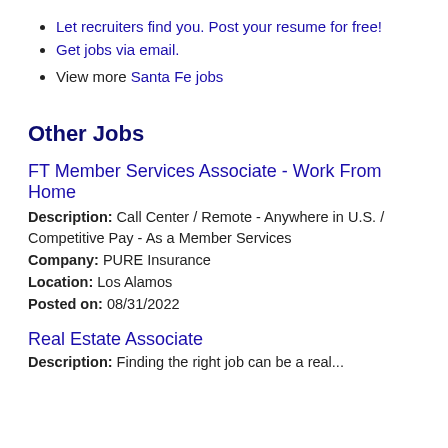Let recruiters find you. Post your resume for free!
Get jobs via email.
View more Santa Fe jobs
Other Jobs
FT Member Services Associate - Work From Home
Description: Call Center / Remote - Anywhere in U.S. / Competitive Pay - As a Member Services
Company: PURE Insurance
Location: Los Alamos
Posted on: 08/31/2022
Real Estate Associate
Description: Finding the right job can be a real...